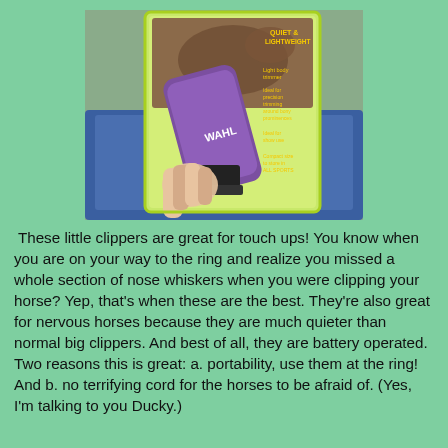[Figure (photo): A hand holding a Wahl brand clipper product in its retail packaging. The clipper is purple and the packaging is green/yellow with text reading 'QUIET & LIGHTWEIGHT', 'Light body trimmer', 'Ideal for precision trimming around bony prominences', and other text. Background shows a blue case.]
These little clippers are great for touch ups! You know when you are on your way to the ring and realize you missed a whole section of nose whiskers when you were clipping your horse? Yep, that's when these are the best. They're also great for nervous horses because they are much quieter than normal big clippers. And best of all, they are battery operated. Two reasons this is great: a. portability, use them at the ring! And b. no terrifying cord for the horses to be afraid of. (Yes, I'm talking to you Ducky.)